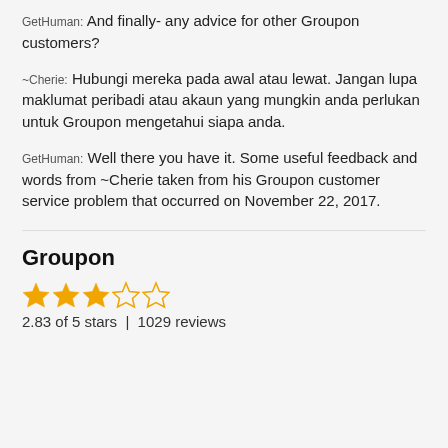GetHuman: And finally- any advice for other Groupon customers?
~Cherie: Hubungi mereka pada awal atau lewat. Jangan lupa maklumat peribadi atau akaun yang mungkin anda perlukan untuk Groupon mengetahui siapa anda.
GetHuman: Well there you have it. Some useful feedback and words from ~Cherie taken from his Groupon customer service problem that occurred on November 22, 2017.
Groupon
[Figure (other): Star rating showing 2.83 out of 5 stars with 3 filled/half stars and 2 empty stars]
2.83 of 5 stars  |  1029 reviews